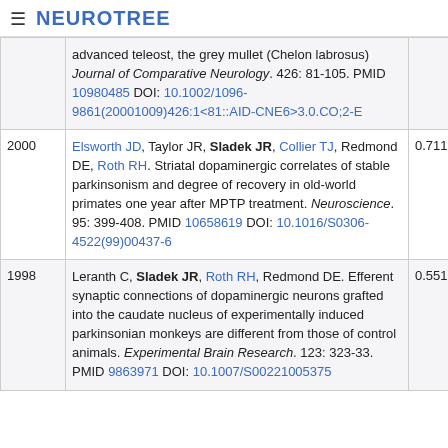≡ NEUROTREE
| Year | Reference | Score |
| --- | --- | --- |
|  | advanced teleost, the grey mullet (Chelon labrosus) Journal of Comparative Neurology. 426: 81-105. PMID 10980485 DOI: 10.1002/1096-9861(20001009)426:1<81::AID-CNE6>3.0.CO;2-E |  |
| 2000 | Elsworth JD, Taylor JR, Sladek JR, Collier TJ, Redmond DE, Roth RH. Striatal dopaminergic correlates of stable parkinsonism and degree of recovery in old-world primates one year after MPTP treatment. Neuroscience. 95: 399-408. PMID 10658619 DOI: 10.1016/S0306-4522(99)00437-6 | 0.711 |
| 1998 | Leranth C, Sladek JR, Roth RH, Redmond DE. Efferent synaptic connections of dopaminergic neurons grafted into the caudate nucleus of experimentally induced parkinsonian monkeys are different from those of control animals. Experimental Brain Research. 123: 323-33. PMID 9863971 DOI: 10.1007/S00221005375 | 0.551 |